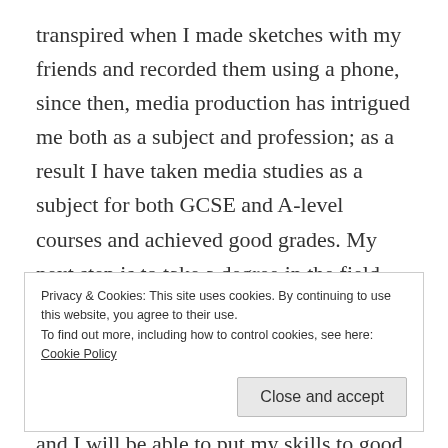transpired when I made sketches with my friends and recorded them using a phone, since then, media production has intrigued me both as a subject and profession; as a result I have taken media studies as a subject for both GCSE and A-level courses and achieved good grades. My next step is to take a degree in the field from which I can achieve my ambition to work in the media industry; it could be as a designer, producer or cameraman. Any of these career paths will satisfy my goal and I will be able to put my skills to good use.
Privacy & Cookies: This site uses cookies. By continuing to use this website, you agree to their use. To find out more, including how to control cookies, see here: Cookie Policy
...